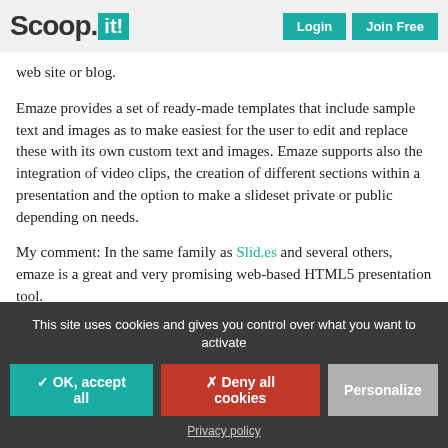Scoop.it! | Login | Join Free
web site or blog.
Emaze provides a set of ready-made templates that include sample text and images as to make easiest for the user to edit and replace these with its own custom text and images. Emaze supports also the integration of video clips, the creation of different sections within a presentation and the option to make a slideset private or public depending on needs.
My comment: In the same family as Slid.es and several others, emaze is a great and very promising web-based HTML5 presentation tool.
For more site to take a look and a nice list of ...
This site uses cookies and gives you control over what you want to activate
✓ OK, accept all
✕ Deny all cookies
Personalize
Privacy policy